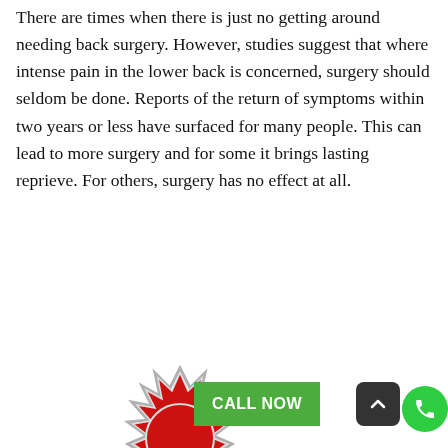There are times when there is just no getting around needing back surgery. However, studies suggest that where intense pain in the lower back is concerned, surgery should seldom be done. Reports of the return of symptoms within two years or less have surfaced for many people. This can lead to more surgery and for some it brings lasting reprieve. For others, surgery has no effect at all.
[Figure (illustration): Partial view of a red and white spiky sun/burst logo at the bottom of the page, with a green 'CALL NOW' button overlay, a dark grey rounded square scroll-up arrow button, and a green circular phone icon button.]